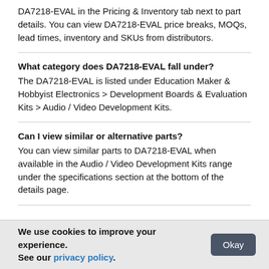DA7218-EVAL in the Pricing & Inventory tab next to part details. You can view DA7218-EVAL price breaks, MOQs, lead times, inventory and SKUs from distributors.
What category does DA7218-EVAL fall under?
The DA7218-EVAL is listed under Education Maker & Hobbyist Electronics > Development Boards & Evaluation Kits > Audio / Video Development Kits.
Can I view similar or alternative parts?
You can view similar parts to DA7218-EVAL when available in the Audio / Video Development Kits range under the specifications section at the bottom of the details page.
We use cookies to improve your experience. See our privacy policy.